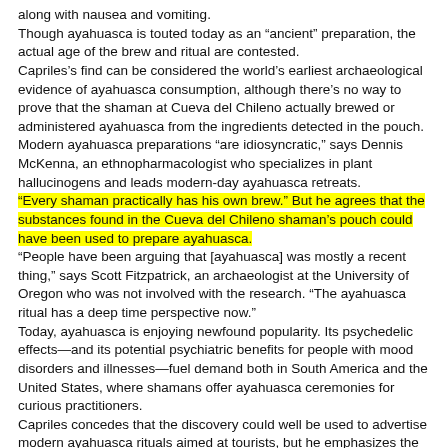along with nausea and vomiting.
Though ayahuasca is touted today as an “ancient” preparation, the actual age of the brew and ritual are contested.
Capriles’s find can be considered the world’s earliest archaeological evidence of ayahuasca consumption, although there’s no way to prove that the shaman at Cueva del Chileno actually brewed or administered ayahuasca from the ingredients detected in the pouch.
Modern ayahuasca preparations “are idiosyncratic,” says Dennis McKenna, an ethnopharmacologist who specializes in plant hallucinogens and leads modern-day ayahuasca retreats.
“Every shaman practically has his own brew.” But he agrees that the substances found in the Cueva del Chileno shaman’s pouch could have been used to prepare ayahuasca.
“People have been arguing that [ayahuasca] was mostly a recent thing,” says Scott Fitzpatrick, an archaeologist at the University of Oregon who was not involved with the research. “The ayahuasca ritual has a deep time perspective now.”
Today, ayahuasca is enjoying newfound popularity. Its psychedelic effects—and its potential psychiatric benefits for people with mood disorders and illnesses—fuel demand both in South America and the United States, where shamans offer ayahuasca ceremonies for curious practitioners.
Capriles concedes that the discovery could well be used to advertise modern ayahuasca rituals aimed at tourists, but he emphasizes the sacred nature of the shaman’s work. “These people were not just tripping because of entertainment,” he says.
Nor was the ritual bundle left in the cave by accident. “We believe that it was left intentionally,” he adds. “This is a typical behavior that you see in ritually charged places.”
Modern users don’t necessarily try the drug for spiritual reasons, says McKenna. “It’s used very differently these days—not necessarily in a worse way, but a different way.”